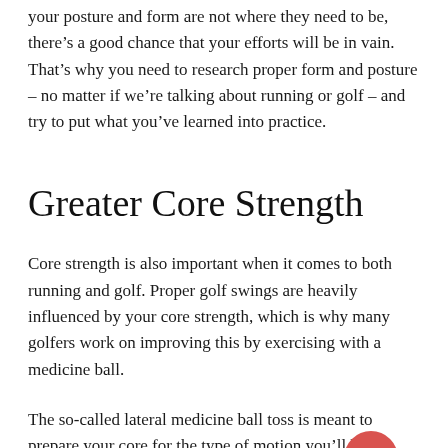your posture and form are not where they need to be, there's a good chance that your efforts will be in vain. That's why you need to research proper form and posture – no matter if we're talking about running or golf – and try to put what you've learned into practice.
Greater Core Strength
Core strength is also important when it comes to both running and golf. Proper golf swings are heavily influenced by your core strength, which is why many golfers work on improving this by exercising with a medicine ball.
The so-called lateral medicine ball toss is meant to prepare your core for the type of motion you'll be experiencing when making a swing. Of course, runners know just how much proper core strength will improve their running efforts...